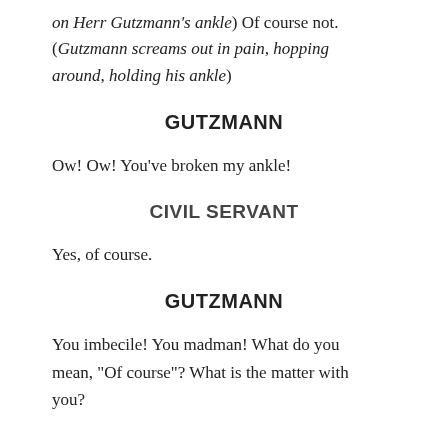on Herr Gutzmann's ankle) Of course not. (Gutzmann screams out in pain, hopping around, holding his ankle)
GUTZMANN
Ow! Ow! You've broken my ankle!
CIVIL SERVANT
Yes, of course.
GUTZMANN
You imbecile! You madman! What do you mean, "Of course"? What is the matter with you?